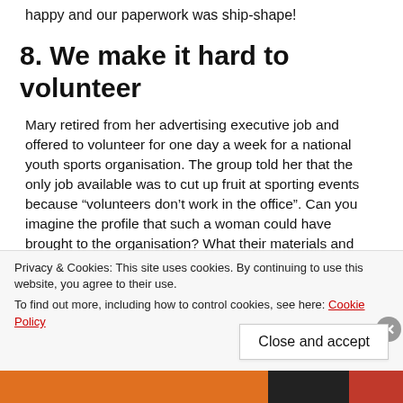happy and our paperwork was ship-shape!
8. We make it hard to volunteer
Mary retired from her advertising executive job and offered to volunteer for one day a week for a national youth sports organisation. The group told her that the only job available was to cut up fruit at sporting events because “volunteers don’t work in the office”. Can you imagine the profile that such a woman could have brought to the organisation? What their materials and publicity could have looked like. Or
Privacy & Cookies: This site uses cookies. By continuing to use this website, you agree to their use.
To find out more, including how to control cookies, see here: Cookie Policy
Close and accept